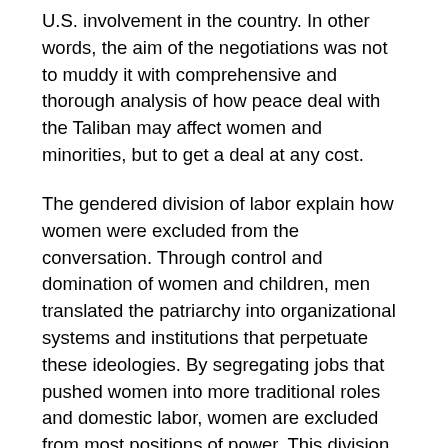U.S. involvement in the country. In other words, the aim of the negotiations was not to muddy it with comprehensive and thorough analysis of how peace deal with the Taliban may affect women and minorities, but to get a deal at any cost.
The gendered division of labor explain how women were excluded from the conversation. Through control and domination of women and children, men translated the patriarchy into organizational systems and institutions that perpetuate these ideologies. By segregating jobs that pushed women into more traditional roles and domestic labor, women are excluded from most positions of power. This division of labor perpetuates gender inequality through excluding women from important decision-making positions such as peace and security conversations. Indeed, patriarchal divisions of labor function as an “organising principle and systemic feature” within societies aiming to capitalize on the inequality amongst women and men. This division of labor is apparent in both negotiating teams from